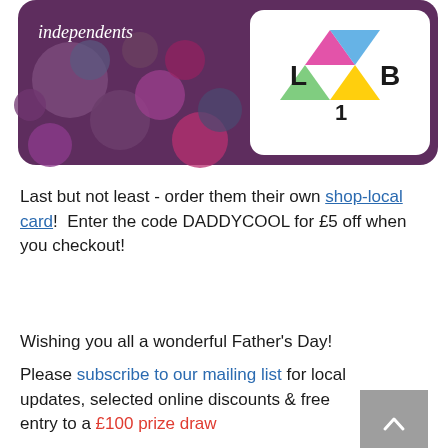[Figure (photo): A shop-local card with a purple background featuring colourful circles and geometric shapes, with the word 'independents' written in white italic text on the left side.]
Last but not least - order them their own shop-local card!  Enter the code DADDYCOOL for £5 off when you checkout!
Wishing you all a wonderful Father's Day!
[Figure (other): Grey back-to-top button with a white upward chevron arrow]
Please subscribe to our mailing list for local updates, selected online discounts & free entry to a £100 prize draw